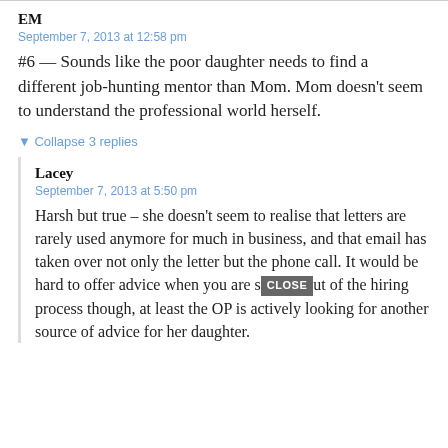EM
September 7, 2013 at 12:58 pm
#6 — Sounds like the poor daughter needs to find a different job-hunting mentor than Mom. Mom doesn't seem to understand the professional world herself.
▼ Collapse 3 replies
Lacey
September 7, 2013 at 5:50 pm
Harsh but true – she doesn't seem to realise that letters are rarely used anymore for much in business, and that email has taken over not only the letter but the phone call. It would be hard to offer advice when you are s[CLOSE]ut of the hiring process though, at least the OP is actively looking for another source of advice for her daughter.